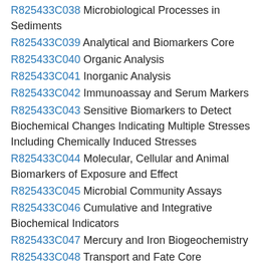R825433C038 Microbiological Processes in Sediments
R825433C039 Analytical and Biomarkers Core
R825433C040 Organic Analysis
R825433C041 Inorganic Analysis
R825433C042 Immunoassay and Serum Markers
R825433C043 Sensitive Biomarkers to Detect Biochemical Changes Indicating Multiple Stresses Including Chemically Induced Stresses
R825433C044 Molecular, Cellular and Animal Biomarkers of Exposure and Effect
R825433C045 Microbial Community Assays
R825433C046 Cumulative and Integrative Biochemical Indicators
R825433C047 Mercury and Iron Biogeochemistry
R825433C048 Transport and Fate Core
R825433C049 Role of Hydrogeologic Processes in Alpine Ecosystem Health
R825433C050 Regional Hydrologic Modeling With Emphasis...